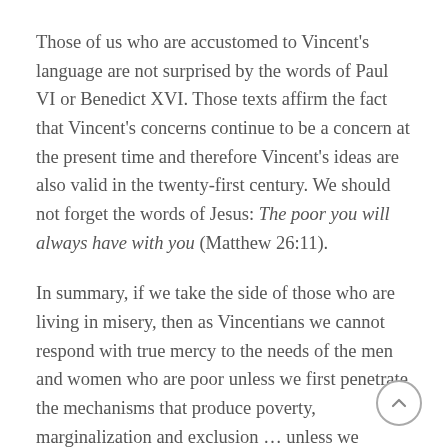Those of us who are accustomed to Vincent's language are not surprised by the words of Paul VI or Benedict XVI. Those texts affirm the fact that Vincent's concerns continue to be a concern at the present time and therefore Vincent's ideas are also valid in the twenty-first century. We should not forget the words of Jesus: The poor you will always have with you (Matthew 26:11).
In summary, if we take the side of those who are living in misery, then as Vincentians we cannot respond with true mercy to the needs of the men and women who are poor unless we first penetrate the mechanisms that produce poverty, marginalization and exclusion … unless we attempt to make the “structures of sin” and the “evil mechanisms” a thing of the past (John Paul II,